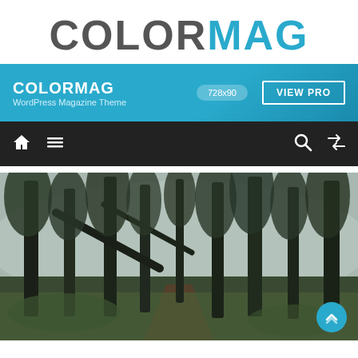COLORMAG
[Figure (screenshot): ColorMag WordPress Magazine Theme banner ad showing brand name, '728x90' size label and 'VIEW PRO' button on a blue gradient background]
[Figure (screenshot): Dark navigation bar with home icon, hamburger menu icon, search icon, and shuffle icon on black background]
[Figure (photo): A forest path photo showing tall dark pine trees, mossy ground, and a misty background with a narrow dirt trail winding through]